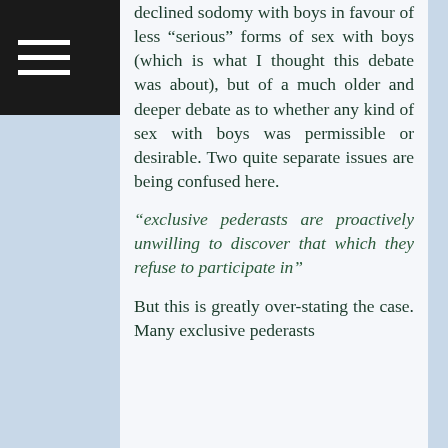declined sodomy with boys in favour of less “serious” forms of sex with boys (which is what I thought this debate was about), but of a much older and deeper debate as to whether any kind of sex with boys was permissible or desirable. Two quite separate issues are being confused here.
“exclusive pederasts are proactively unwilling to discover that which they refuse to participate in”
But this is greatly over-stating the case. Many exclusive pederasts